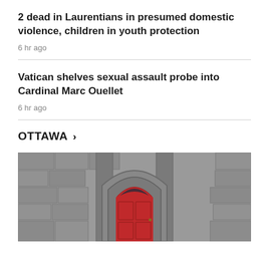2 dead in Laurentians in presumed domestic violence, children in youth protection
6 hr ago
Vatican shelves sexual assault probe into Cardinal Marc Ouellet
6 hr ago
OTTAWA >
[Figure (photo): Photo of a stone church facade with a prominent red arched door]